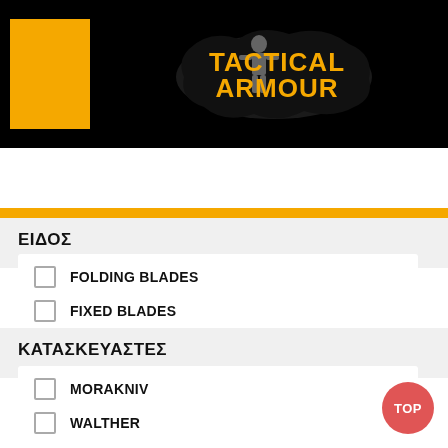[Figure (logo): Tactical Armour logo with soldier silhouette on black background, orange rectangle on left]
ΑΝΑΖΗΤΗΣΗ
ΕΙΔΟΣ
FOLDING BLADES
FIXED BLADES
ΚΑΤΑΣΚΕΥΑΣΤΕΣ
MORAKNIV
WALTHER